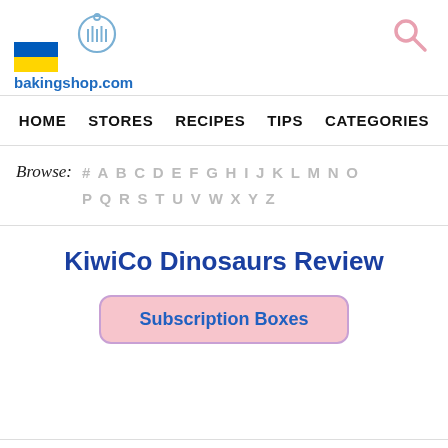[Figure (logo): Ukraine flag (blue and yellow) next to a cake/bakery logo icon, with 'bakingshop.com' text below]
[Figure (other): Pink search magnifying glass icon in top right]
HOME  STORES  RECIPES  TIPS  CATEGORIES
Browse: # A B C D E F G H I J K L M N O P Q R S T U V W X Y Z
KiwiCo Dinosaurs Review
Subscription Boxes